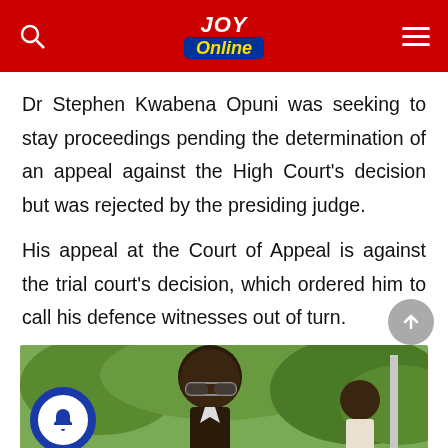JOY Online
Dr Stephen Kwabena Opuni was seeking to stay proceedings pending the determination of an appeal against the High Court’s decision but was rejected by the presiding judge.
His appeal at the Court of Appeal is against the trial court’s decision, which ordered him to call his defence witnesses out of turn.
[Figure (photo): Photo of a man (Dr Stephen Kwabena Opuni) wearing sunglasses, with green trees/foliage in the background and another person partially visible on the right.]